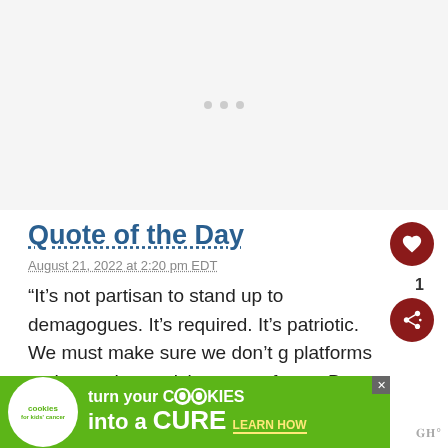[Figure (other): Light gray placeholder area with three small gray dots centered, representing an unloaded image or ad slot]
Quote of the Day
August 21, 2022 at 2:20 pm EDT
“It’s not partisan to stand up to demagogues. It’s required. It’s patriotic. We must make sure we don’t g platforms to those who are lying to our faces. But we…
[Figure (other): Green ad banner for cookies for kids' cancer: turn your COOKIES into a CURE LEARN HOW]